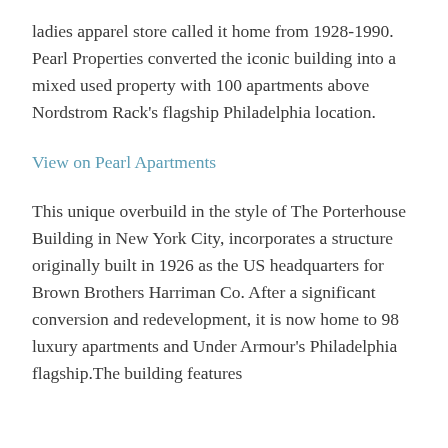ladies apparel store called it home from 1928-1990. Pearl Properties converted the iconic building into a mixed used property with 100 apartments above Nordstrom Rack's flagship Philadelphia location.
View on Pearl Apartments
This unique overbuild in the style of The Porterhouse Building in New York City, incorporates a structure originally built in 1926 as the US headquarters for Brown Brothers Harriman Co. After a significant conversion and redevelopment, it is now home to 98 luxury apartments and Under Armour's Philadelphia flagship.The building features